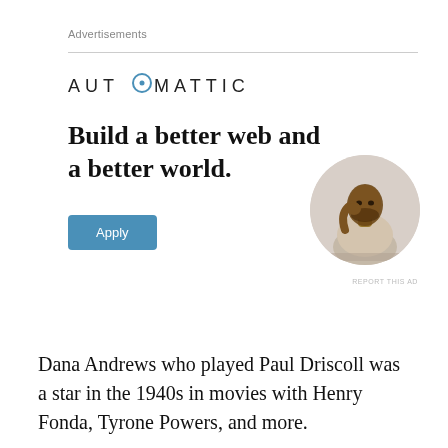Advertisements
[Figure (logo): Automattic logo with circular target icon replacing the letter O]
Build a better web and a better world.
[Figure (photo): Circular cropped photo of a young Black man sitting thoughtfully with hand on chin, looking upward, wearing a beige t-shirt]
REPORT THIS AD
Dana Andrews who played Paul Driscoll was a star in the 1940s in movies with Henry Fonda, Tyrone Powers, and more.